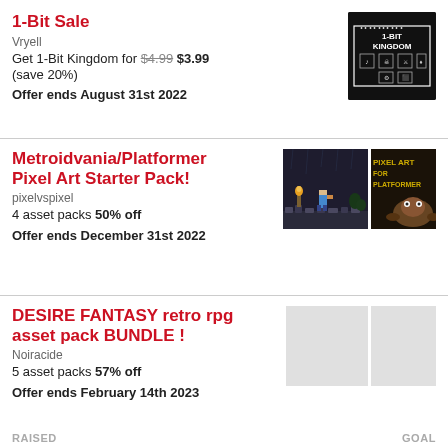1-Bit Sale
Vryell
Get 1-Bit Kingdom for $4.99 $3.99 (save 20%)
Offer ends August 31st 2022
[Figure (screenshot): 1-Bit Kingdom game screenshot with black background and pixel art icons]
Metroidvania/Platformer Pixel Art Starter Pack!
pixelvspixel
4 asset packs 50% off
Offer ends December 31st 2022
[Figure (screenshot): Metroidvania platformer pixel art game screenshots]
DESIRE FANTASY retro rpg asset pack BUNDLE !
Noiracide
5 asset packs 57% off
Offer ends February 14th 2023
[Figure (screenshot): Placeholder images for DESIRE FANTASY bundle]
RAISED   GOAL